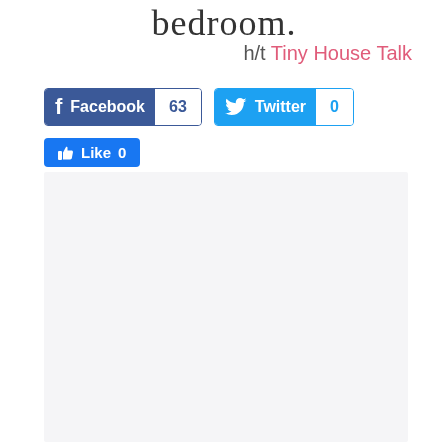bedroom.
h/t Tiny House Talk
[Figure (other): Facebook share button showing count 63 and Twitter share button showing count 0]
[Figure (other): Facebook Like button showing count 0]
[Figure (other): Light gray placeholder content box]